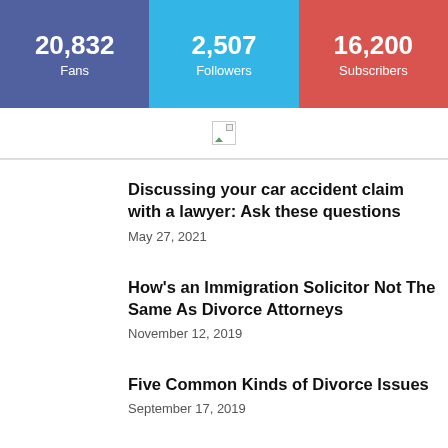[Figure (infographic): Social media stats bar with three colored boxes: Facebook 20,832 Fans (blue-purple), Twitter 2,507 Followers (cyan), YouTube 16,200 Subscribers (red)]
[Figure (photo): Broken image placeholder icon]
Discussing your car accident claim with a lawyer: Ask these questions
May 27, 2021
How's an Immigration Solicitor Not The Same As Divorce Attorneys
November 12, 2019
Five Common Kinds of Divorce Issues
September 17, 2019
How Top Court Will continue to Impact Divorce